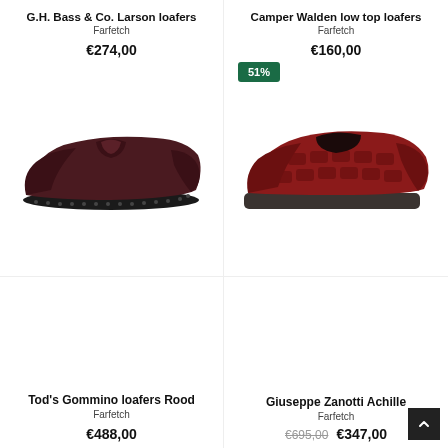G.H. Bass & Co. Larson loafers
Farfetch
€274,00
[Figure (photo): Dark burgundy/brown leather moccasin loafer with gommino rubber pebble sole, viewed from the side]
Camper Walden low top loafers
Farfetch
€160,00
[Figure (photo): Red crocodile-embossed loafer with dark thick rubber sole, viewed from the side, with 51% discount badge]
Tod's Gommino loafers Rood
Farfetch
€488,00
Giuseppe Zanotti Achille
Farfetch
€695,00  €347,00